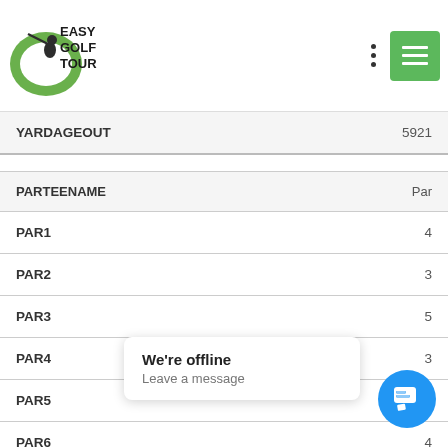[Figure (logo): Easy Golf Tour logo with green golf swing graphic and text EASY GOLF TOUR]
| PARTEENAME | Par |
| --- | --- |
| YARDAGEOUT | 5921 |
| PAR1 | 4 |
| PAR2 | 3 |
| PAR3 | 5 |
| PAR4 | 3 |
| PAR5 | 4 |
| PAR6 | 4 |
| PAR7 | 4 |
| PAR8 |  |
| PAR9 |  |
We're offline
Leave a message